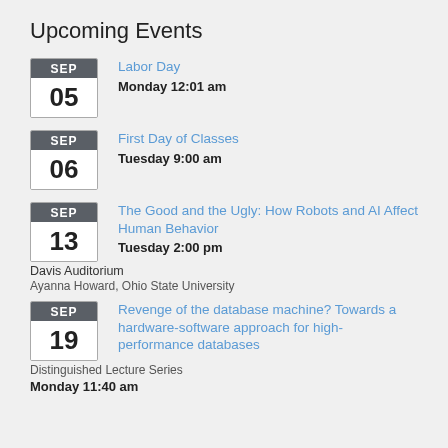Upcoming Events
SEP 05 | Labor Day | Monday 12:01 am
SEP 06 | First Day of Classes | Tuesday 9:00 am
SEP 13 | The Good and the Ugly: How Robots and AI Affect Human Behavior | Tuesday 2:00 pm | Davis Auditorium | Ayanna Howard, Ohio State University
SEP 19 | Revenge of the database machine? Towards a hardware-software approach for high-performance databases | Distinguished Lecture Series | Monday 11:40 am